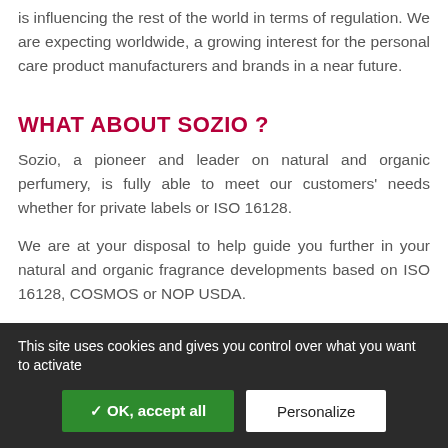is influencing the rest of the world in terms of regulation. We are expecting worldwide, a growing interest for the personal care product manufacturers and brands in a near future.
WHAT ABOUT SOZIO ?
Sozio, a pioneer and leader on natural and organic perfumery, is fully able to meet our customers' needs whether for private labels or ISO 16128.
We are at your disposal to help guide you further in your natural and organic fragrance developments based on ISO 16128, COSMOS or NOP USDA.
This site uses cookies and gives you control over what you want to activate